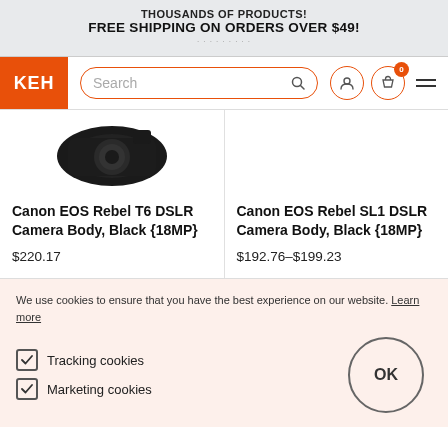THOUSANDS OF PRODUCTS!
FREE SHIPPING ON ORDERS OVER $49!
[Figure (screenshot): KEH Camera website navigation bar with logo, search bar, user icon, cart icon with 0 badge, and hamburger menu]
[Figure (photo): Canon EOS Rebel T6 DSLR camera body, black, partial top view]
Canon EOS Rebel T6 DSLR Camera Body, Black {18MP}
$220.17
Canon EOS Rebel SL1 DSLR Camera Body, Black {18MP}
$192.76–$199.23
We use cookies to ensure that you have the best experience on our website. Learn more
Tracking cookies
Marketing cookies